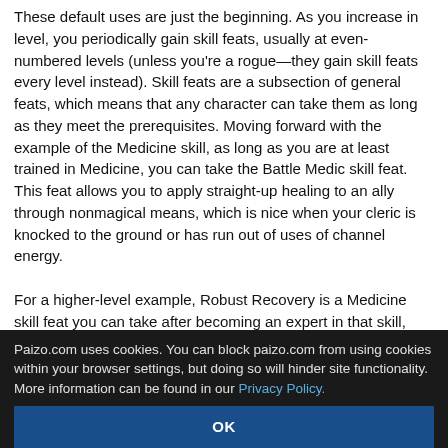These default uses are just the beginning. As you increase in level, you periodically gain skill feats, usually at even-numbered levels (unless you're a rogue—they gain skill feats every level instead). Skill feats are a subsection of general feats, which means that any character can take them as long as they meet the prerequisites. Moving forward with the example of the Medicine skill, as long as you are at least trained in Medicine, you can take the Battle Medic skill feat. This feat allows you to apply straight-up healing to an ally through nonmagical means, which is nice when your cleric is knocked to the ground or has run out of uses of channel energy.

For a higher-level example, Robust Recovery is a Medicine skill feat you can take after becoming an expert in that skill, and increases the bonus to saving throws against...
Paizo.com uses cookies. You can block paizo.com from using cookies within your browser settings, but doing so will hinder site functionality. More information can be found in our Privacy Policy.
OK